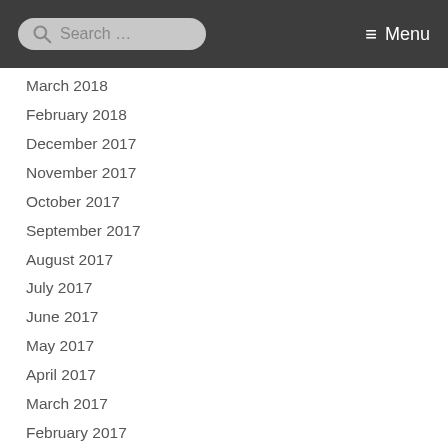Search ... Menu
March 2018
February 2018
December 2017
November 2017
October 2017
September 2017
August 2017
July 2017
June 2017
May 2017
April 2017
March 2017
February 2017
January 2017
December 2016
November 2016